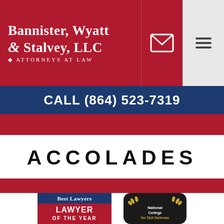Bannister, Wyatt & Stalvey, LLC — Attorneys At Law
CALL (864) 523-7319
ACCOLADES
[Figure (logo): Best Lawyers — Lawyer of the Year badge]
[Figure (logo): National College for DUI Defense badge with gold wreath]